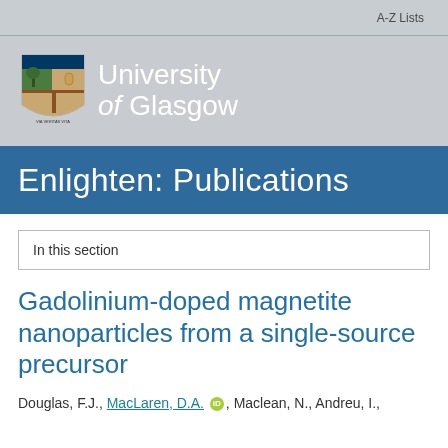A-Z Lists
[Figure (logo): University of Glasgow crest and wordmark logo on grey background]
Enlighten: Publications
In this section
Gadolinium-doped magnetite nanoparticles from a single-source precursor
Douglas, F.J., MacLaren, D.A. [ORCID], Maclean, N., Andreu, I.,